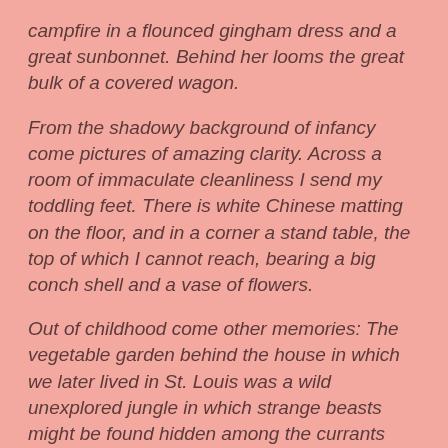campfire in a flounced gingham dress and a great sunbonnet.  Behind her looms the great bulk of a covered wagon.
From the shadowy background of infancy come pictures of amazing clarity.  Across a room of immaculate cleanliness I send my toddling feet.  There is white Chinese matting on the floor, and in a corner a stand table, the top of which I cannot reach, bearing a big conch shell and a vase of flowers.
Out of childhood come other memories:  The vegetable garden behind the house in which we later lived in St. Louis was a wild unexplored jungle in which strange beasts might be found hidden among the currants and cabbage.  Once a wild Indian with a feather in his hair arose with blood-curdling war whoops from among the tomato vines.  On closer inspection the savage turned out to be brother Will,